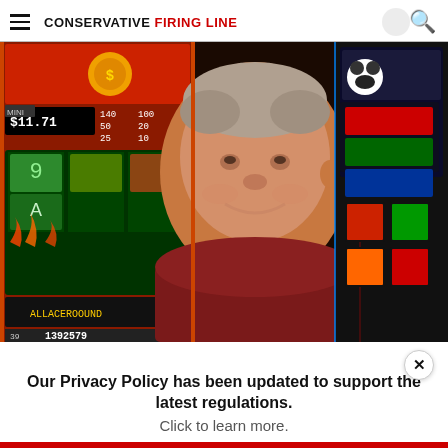CONSERVATIVE FIRING LINE
AROUND THE WEB
[Figure (photo): An older man with gray hair smiling at the camera inside a casino, surrounded by colorful slot machines. One machine shows $11.71 and reads 1392579 at the bottom.]
Our Privacy Policy has been updated to support the latest regulations. Click to learn more.